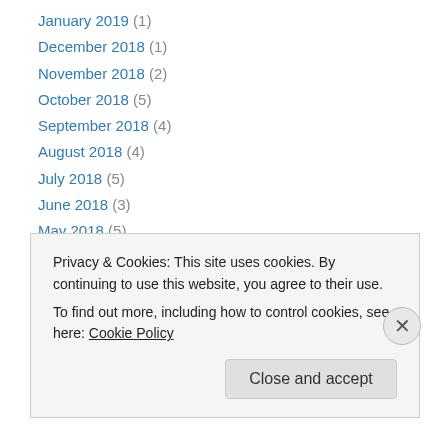January 2019 (1)
December 2018 (1)
November 2018 (2)
October 2018 (5)
September 2018 (4)
August 2018 (4)
July 2018 (5)
June 2018 (3)
May 2018 (5)
April 2018 (4)
March 2018 (5)
February 2018 (3)
January 2018 (5)
Privacy & Cookies: This site uses cookies. By continuing to use this website, you agree to their use.
To find out more, including how to control cookies, see here: Cookie Policy